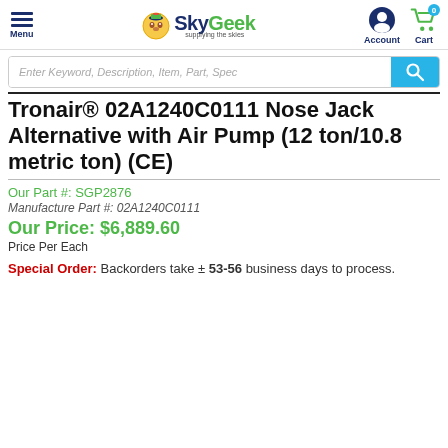SkyGeek — Menu | Account | Cart
Tronair® 02A1240C0111 Nose Jack Alternative with Air Pump (12 ton/10.8 metric ton) (CE)
Our Part #: SGP2876
Manufacture Part #: 02A1240C0111
Our Price: $6,889.60
Price Per Each
Special Order: Backorders take ± 53-56 business days to process.